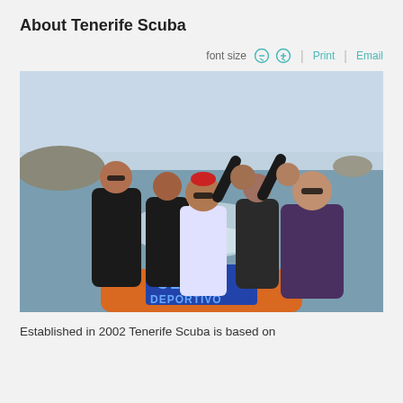About Tenerife Scuba
font size  Print  Email
[Figure (photo): Group of people in wetsuits and swimwear on an inflatable boat on the ocean, waving and smiling. An orange rigid inflatable boat with a blue sign reading 'CLUB DEPORTIVO' is visible in the foreground. Rocky coastline and ocean wake in the background.]
Established in 2002 Tenerife Scuba is based on